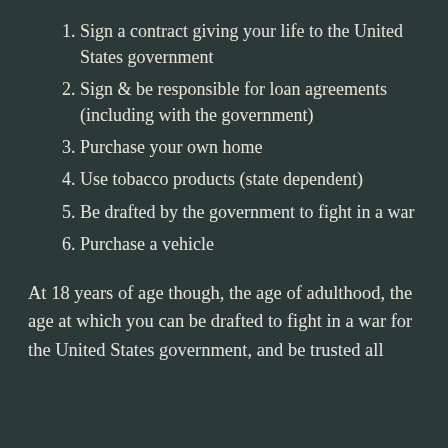Sign a contract giving your life to the United States government
Sign & be responsible for loan agreements (including with the government)
Purchase your own home
Use tobacco products (state dependent)
Be drafted by the government to fight in a war
Purchase a vehicle
At 18 years of age though, the age of adulthood, the age at which you can be drafted to fight in a war for the United States government, and be trusted all